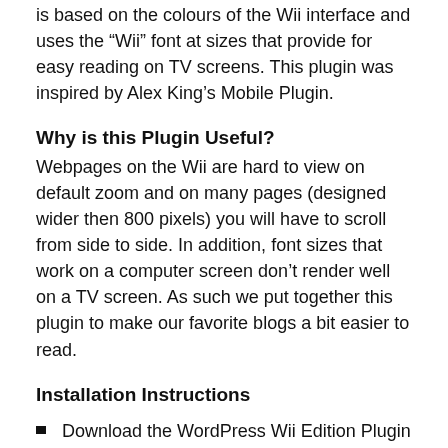is based on the colours of the Wii interface and uses the “Wii” font at sizes that provide for easy reading on TV screens. This plugin was inspired by Alex King’s Mobile Plugin.
Why is this Plugin Useful?
Webpages on the Wii are hard to view on default zoom and on many pages (designed wider then 800 pixels) you will have to scroll from side to side. In addition, font sizes that work on a computer screen don’t render well on a TV screen. As such we put together this plugin to make our favorite blogs a bit easier to read.
Installation Instructions
Download the WordPress Wii Edition Plugin v1.3
Drop the wp-wii.php file in your wp-content/plugins directory